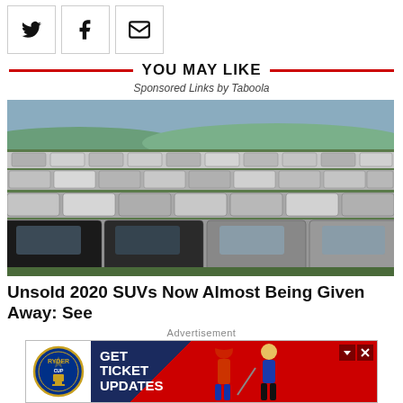[Figure (other): Social share buttons: Twitter bird icon, Facebook f icon, envelope/mail icon, each in a bordered square box]
YOU MAY LIKE
Sponsored Links by Taboola
[Figure (photo): Aerial/ground-level photo of a large field filled with rows and rows of unsold white/grey SUVs and trucks parked tightly together on grass]
Unsold 2020 SUVs Now Almost Being Given Away: See
Advertisement
[Figure (other): Advertisement banner for Ryder Cup: Ryder Cup logo on white background on left, text GET TICKET UPDATES on dark blue/red background, golfer silhouettes on right]